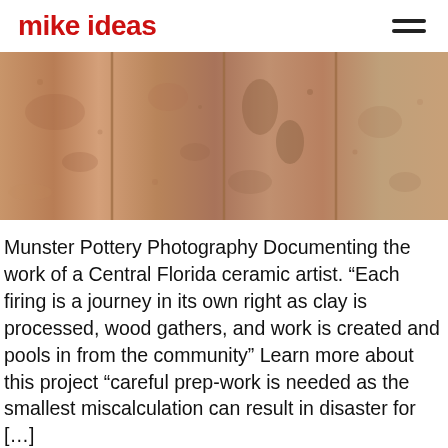mike ideas
[Figure (photo): Close-up photograph of ceramic pottery pieces or clay tiles with earthy brown, tan, and terracotta tones, showing texture and markings from firing]
Munster Pottery Photography Documenting the work of a Central Florida ceramic artist. “Each firing is a journey in its own right as clay is processed, wood gathers, and work is created and pools in from the community” Learn more about this project “careful prep-work is needed as the smallest miscalculation can result in disaster for […]
Brandhut Agency